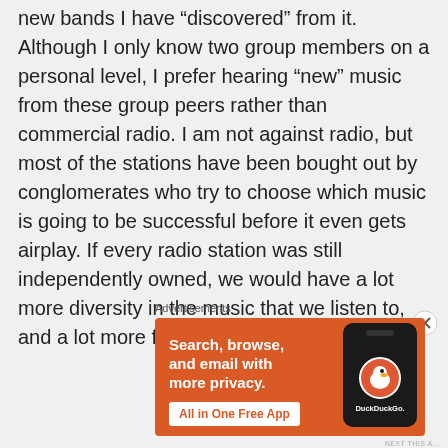new bands I have “discovered” from it. Although I only know two group members on a personal level, I prefer hearing “new” music from these group peers rather than commercial radio. I am not against radio, but most of the stations have been bought out by conglomerates who try to choose which music is going to be successful before it even gets airplay. If every radio station was still independently owned, we would have a lot more diversity in the music that we listen to, and a lot more faith in the station operators.
Advertisements
[Figure (illustration): DuckDuckGo advertisement banner on orange background. Text reads: Search, browse, and email with more privacy. All in One Free App. Shows a phone with DuckDuckGo logo.]